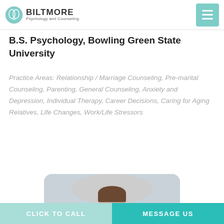BILTMORE Psychology and Counseling
B.S. Psychology, Bowling Green State University
Practice Areas: Relationship / Marriage Counseling, Pre-marital Counseling, Parenting, General Counseling, Anxiety and Depression, Individual Therapy, Career Decisions, Caring for Aging Relatives, Life Changes, Work/Life Stressors
[Figure (photo): Photo of a woman with bangs, outdoors with blurred background]
CLICK TO CALL   MESSAGE US